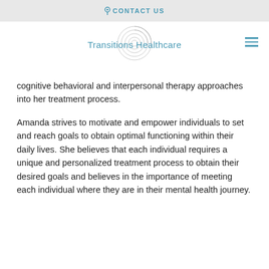CONTACT US
[Figure (logo): Transitions Healthcare spiral logo with text]
cognitive behavioral and interpersonal therapy approaches into her treatment process.
Amanda strives to motivate and empower individuals to set and reach goals to obtain optimal functioning within their daily lives. She believes that each individual requires a unique and personalized treatment process to obtain their desired goals and believes in the importance of meeting each individual where they are in their mental health journey.